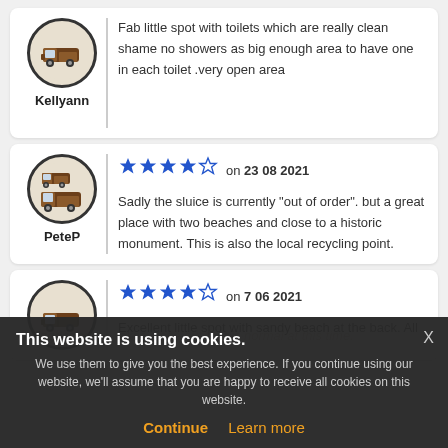[Figure (illustration): Campervan icon for user Kellyann]
Kellyann
Fab little spot with toilets which are really clean shame no showers as big enough area to have one in each toilet .very open area
[Figure (illustration): Two campervan icons for user PeteP]
PeteP
[Figure (other): 4 out of 5 stars rating]
on 23 08 2021
Sadly the sluice is currently "out of order". but a great place with two beaches and close to a historic monument. This is also the local recycling point.
[Figure (illustration): Single campervan icon for third reviewer]
[Figure (other): 4 out of 5 stars rating]
on 7 06 2021
Excellent little spot with sandy beach at the back. All
This website is using cookies. We use them to give you the best experience. If you continue using our website, we'll assume that you are happy to receive all cookies on this website.
Continue
Learn more